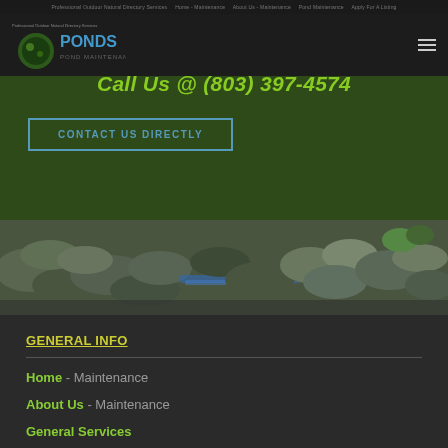Professional Outdoor Natural Directory Services - Home - Maintenance - About Us - Maintenance - Pond Maintenance - Apply For A Listing
[Figure (logo): PONDS logo - green circular pond emblem with 'PONDS' text and 'POND MAINTENANCE' subtitle]
Call Us @ (803) 397-4574
CONTACT US DIRECTLY
[Figure (photo): Stone rock wall and pond construction photo showing rocks, blue tubing/liner, and water features]
GENERAL INFO
Home - Maintenance
About Us - Maintenance
General Services
Apply For A Listing